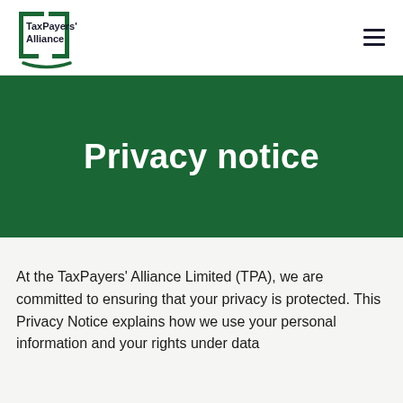TaxPayers' Alliance
Privacy notice
At the TaxPayers' Alliance Limited (TPA), we are committed to ensuring that your privacy is protected. This Privacy Notice explains how we use your personal information and your rights under data